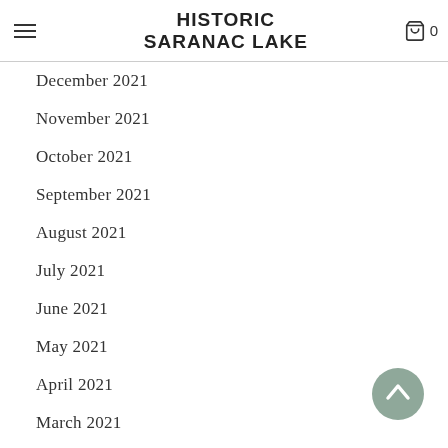HISTORIC SARANAC LAKE
December 2021
November 2021
October 2021
September 2021
August 2021
July 2021
June 2021
May 2021
April 2021
March 2021
February 2021
January 2021